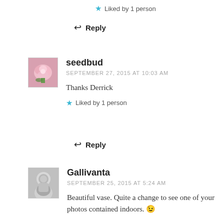★ Liked by 1 person
↩ Reply
seedbud
SEPTEMBER 27, 2015 AT 10:03 AM
Thanks Derrick
★ Liked by 1 person
↩ Reply
Gallivanta
SEPTEMBER 25, 2015 AT 5:24 AM
Beautiful vase. Quite a change to see one of your photos contained indoors. 😉